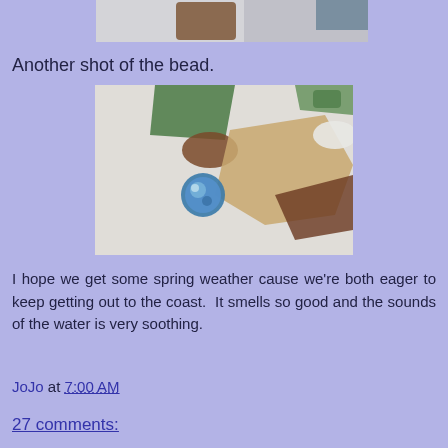[Figure (photo): Partial top of a photo showing a close-up image, partially cropped at the top of the page]
Another shot of the bead.
[Figure (photo): Photo showing sea glass and a small blue glass bead on a light surface. Visible pieces include green, brown, tan/beige sea glass shapes and a small round blue bead in the center-left area.]
I hope we get some spring weather cause we're both eager to keep getting out to the coast.  It smells so good and the sounds of the water is very soothing.
JoJo at 7:00 AM
27 comments: